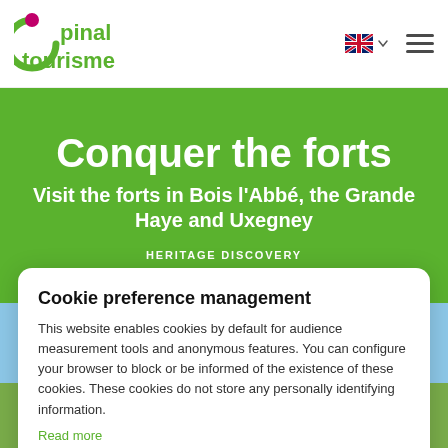Epinal tourisme — logo, UK flag language selector, hamburger menu
Conquer the forts
Visit the forts in Bois l'Abbé, the Grande Haye and Uxegney
HERITAGE DISCOVERY
[Figure (photo): Outdoor landscape photo visible behind cookie dialog — sky with clouds and green terrain]
Cookie preference management
This website enables cookies by default for audience measurement tools and anonymous features. You can configure your browser to block or be informed of the existence of these cookies. These cookies do not store any personally identifying information.
Read more
No thanks | I choose | Ok for me